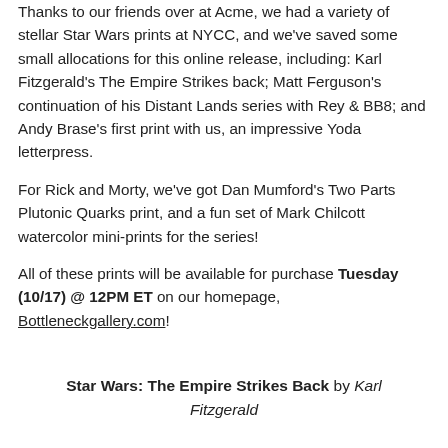Thanks to our friends over at Acme, we had a variety of stellar Star Wars prints at NYCC, and we've saved some small allocations for this online release, including: Karl Fitzgerald's The Empire Strikes back; Matt Ferguson's continuation of his Distant Lands series with Rey & BB8; and Andy Brase's first print with us, an impressive Yoda letterpress.
For Rick and Morty, we've got Dan Mumford's Two Parts Plutonic Quarks print, and a fun set of Mark Chilcott watercolor mini-prints for the series!
All of these prints will be available for purchase Tuesday (10/17) @ 12PM ET on our homepage, Bottleneckgallery.com!
Star Wars: The Empire Strikes Back by Karl Fitzgerald